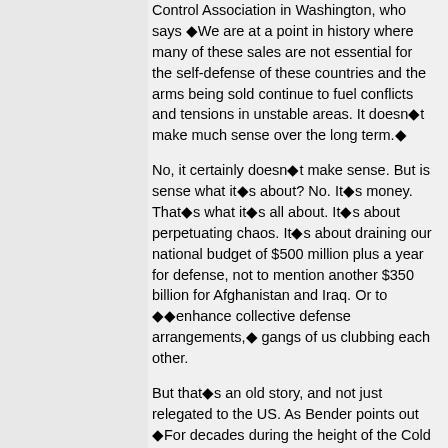Control Association in Washington, who says âWe are at a point in history where many of these sales are not essential for the self-defense of these countries and the arms being sold continue to fuel conflicts and tensions in unstable areas. It doesn’t make much sense over the long term.”
No, it certainly doesn’t make sense. But is sense what it’s about? No. It’s money. That’s what it’s all about. It’s about perpetuating chaos. It’s about draining our national budget of $500 million plus a year for defense, not to mention another $350 billion for Afghanistan and Iraq. Or to “enhance collective defense arrangements,” gangs of us clubbing each other.
But that’s an old story, and not just relegated to the US. As Bender points out “For decades during the height of the Cold War, providing conventional weapons to friendly states was an instrument of foreign policy utilized by the United States and its allies.” Today, our allies include Pakistan, to whom we’ve recently decided to send F-16 fighter jets. These are the folks that developed their own atomic bomb then gave the plans to rogue nations Libya and North Korea.
Also, weapons take men (and their lives) to